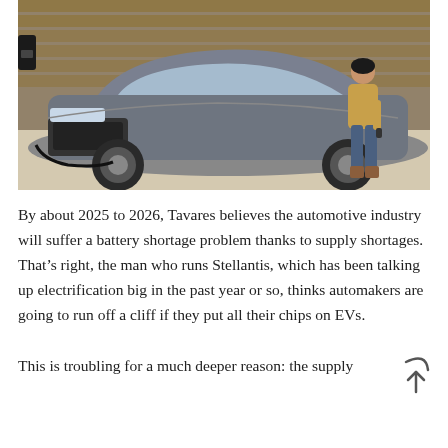[Figure (photo): A woman plugging a charging cable into a gray minivan (Chrysler Pacifica Hybrid) parked in front of a garage. A wall-mounted EV charger is visible on the left side.]
By about 2025 to 2026, Tavares believes the automotive industry will suffer a battery shortage problem thanks to supply shortages. That's right, the man who runs Stellantis, which has been talking up electrification big in the past year or so, thinks automakers are going to run off a cliff if they put all their chips on EVs.
This is troubling for a much deeper reason: the supply